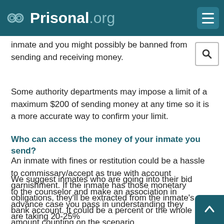Prisonal.org
inmate and you might possibly be banned from sending and receiving money.
Some authority departments may impose a limit of a maximum $200 of sending money at any time so it is a more accurate way to confirm your limit.
Who can access the money of your inmate you send?
An inmate with fines or restitution could be a hassle to commissary/accept as true with account garnishment. If the inmate has those monetary obligations, they'll be extracted from the inmate's bank account. It could be a percent or the whole amount counting on the scenario.
We suggest inmates who are going into their bid to the counselor and make an association in advance case you pass in understanding they are taking 20-25%